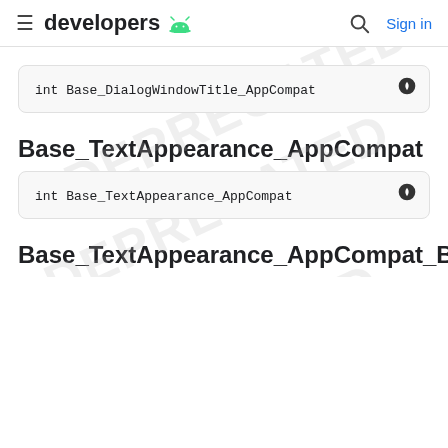≡ developers 🤖  🔍 Sign in
int Base_DialogWindowTitle_AppCompat
Base_TextAppearance_AppCompat
int Base_TextAppearance_AppCompat
Base_TextAppearance_AppCompat_Body1